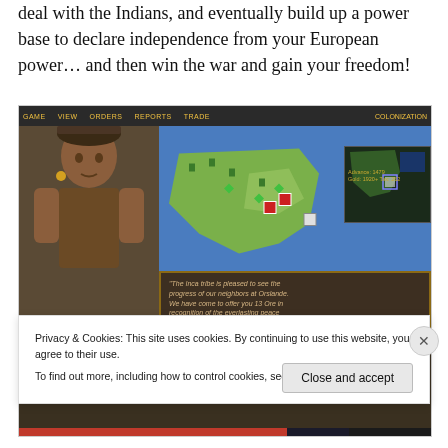deal with the Indians, and eventually build up a power base to declare independence from your European power… and then win the war and gain your freedom!
[Figure (screenshot): Screenshot of the video game Colonization showing a native Indian character on the left side, a map with terrain and units in the middle, a minimap in the upper right, and a dialog box at the bottom reading: "The Inca tribe is pleased to see the progress of our neighbors at Orslande. We have come to offer you 13 Ore in recognition of the everlasting peace between our peoples."]
Privacy & Cookies: This site uses cookies. By continuing to use this website, you agree to their use.
To find out more, including how to control cookies, see here: Cookie Policy